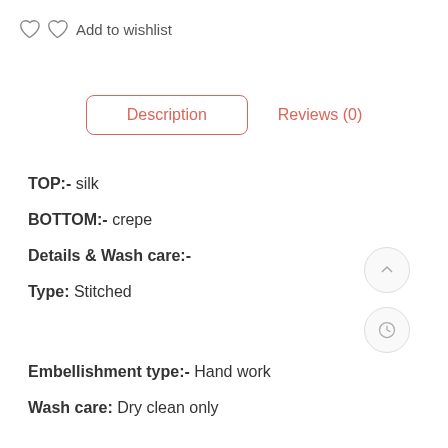Add to wishlist
Description
Reviews (0)
TOP:-  silk
BOTTOM:- crepe
Details & Wash care:-
Type: Stitched
Embellishment type:- Hand work
Wash care: Dry clean only